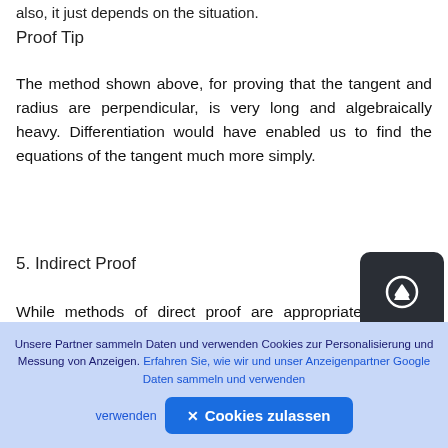also, it just depends on the situation.
Proof Tip
The method shown above, for proving that the tangent and radius are perpendicular, is very long and algebraically heavy. Differentiation would have enabled us to find the equations of the tangent much more simply.
5. Indirect Proof
While methods of direct proof are appropriate in many cases, there are several statements that cannot be proved directly.
Unsere Partner sammeln Daten und verwenden Cookies zur Personalisierung und Messung von Anzeigen. Erfahren Sie, wie wir und unser Anzeigenpartner Google Daten sammeln und verwenden ✕ Cookies zulassen